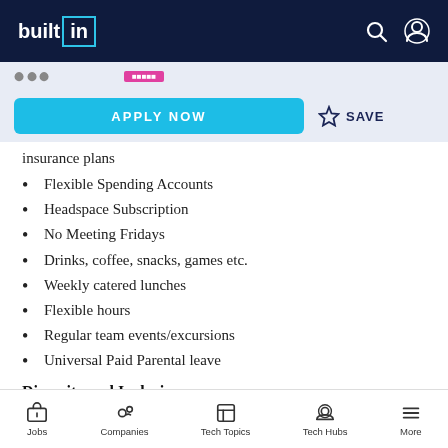builtin
insurance plans
Flexible Spending Accounts
Headspace Subscription
No Meeting Fridays
Drinks, coffee, snacks, games etc.
Weekly catered lunches
Flexible hours
Regular team events/excursions
Universal Paid Parental leave
Diversity and Inclusion
Jobs  Companies  Tech Topics  Tech Hubs  More